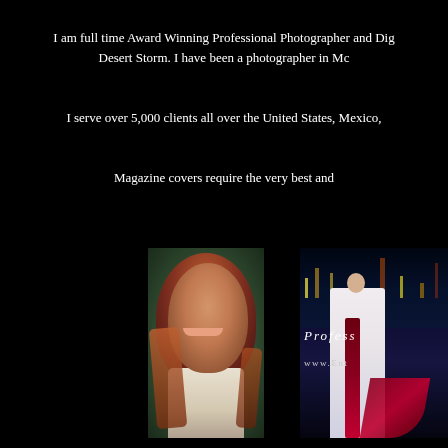I am full time Award Winning Professional Photographer and Dig... Desert Storm. I have been a photographer in Mc...
I serve over 5,000 clients all over the United States, Mexico,
Magazine covers require the very best and
[Figure (photo): Portrait of a young woman with long red hair, smiling, wearing a white off-shoulder top, outdoors with green background]
[Figure (photo): Promotional image showing a woman in a white wedding gown with red sash, standing against a city night skyline background, with italic script text 'Profess...' and URL 'www.Ent...']